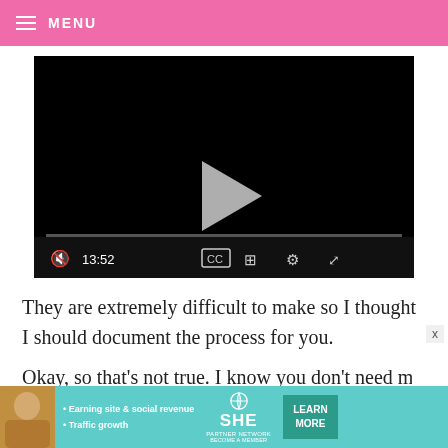MENU
[Figure (screenshot): Video player showing a black screen with a play button in the center, a progress bar, and controls showing timestamp 13:52, CC button, grid button, settings gear, and fullscreen button]
They are extremely difficult to make so I thought I should document the process for you.
Okay, so that's not true. I know you don't need me
[Figure (infographic): SHE Partner Network advertisement banner with woman photo, bullet points: Earning site & social revenue, Traffic growth, SHE logo, LEARN MORE button]